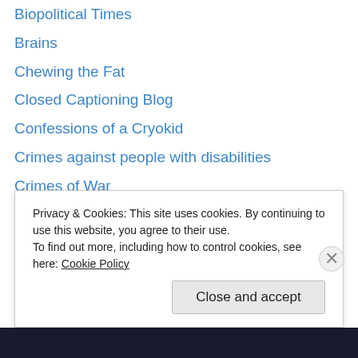Biopolitical Times
Brains
Chewing the Fat
Closed Captioning Blog
Confessions of a Cryokid
Crimes against people with disabilities
Crimes of War
Crip Chick
DAWG Oregeon
Deaf Club
Dis Studies, Temple
Disability Culture Watch
Experimental Philosophy
FR I D A
Privacy & Cookies: This site uses cookies. By continuing to use this website, you agree to their use.
To find out more, including how to control cookies, see here: Cookie Policy
Close and accept